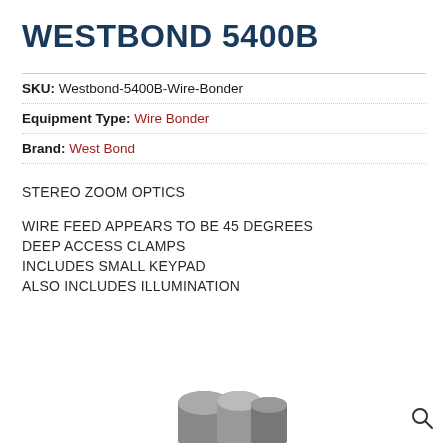WESTBOND 5400B
SKU: Westbond-5400B-Wire-Bonder
Equipment Type: Wire Bonder
Brand: West Bond
STEREO ZOOM OPTICS
WIRE FEED APPEARS TO BE 45 DEGREES
DEEP ACCESS CLAMPS
INCLUDES SMALL KEYPAD
ALSO INCLUDES ILLUMINATION
[Figure (photo): Partial view of wire bonder components at the bottom of the page]